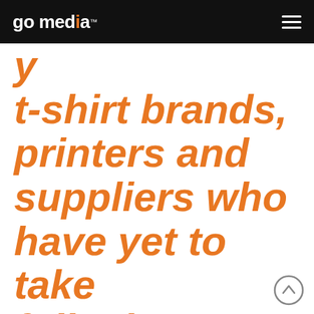go media™
t-shirt brands, printers and suppliers who have yet to take full advantage of what the internet has to